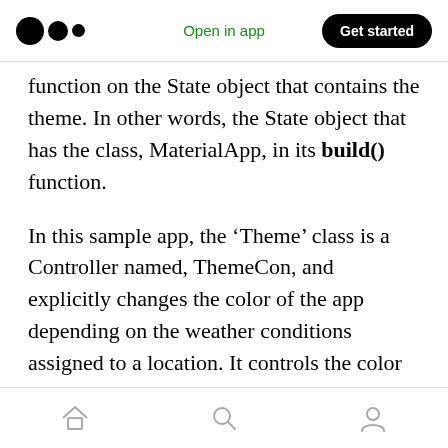Open in app | Get started
function on the State object that contains the theme. In other words, the State object that has the class, MaterialApp, in its build() function.
In this sample app, the ‘Theme’ class is a Controller named, ThemeCon, and explicitly changes the color of the app depending on the weather conditions assigned to a location. It controls the color if not the weather.
So where is this ‘Theme Controller?’ It’s located under the ‘Home’ directory. Why? Because it’s
Home | Search | Profile